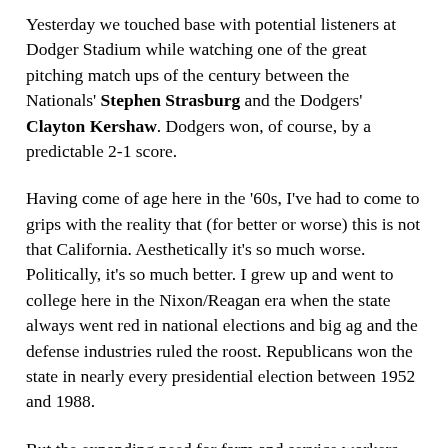Yesterday we touched base with potential listeners at Dodger Stadium while watching one of the great pitching match ups of the century between the Nationals' Stephen Strasburg and the Dodgers' Clayton Kershaw. Dodgers won, of course, by a predictable 2-1 score.
Having come of age here in the '60s, I've had to come to grips with the reality that (for better or worse) this is not that California. Aesthetically it's so much worse. Politically, it's so much better. I grew up and went to college here in the Nixon/Reagan era when the state always went red in national elections and big ag and the defense industries ruled the roost. Republicans won the state in nearly every presidential election between 1952 and 1988.
But the expanding need for farm and service workers led to an explosion in California's Latino and Asian populations which boomed in the 1990s and the GOP's racist and anti-immigrant stance became the party's achilles heel. It still is.
Since the party closely tied itself to Proposition 187, a ballot